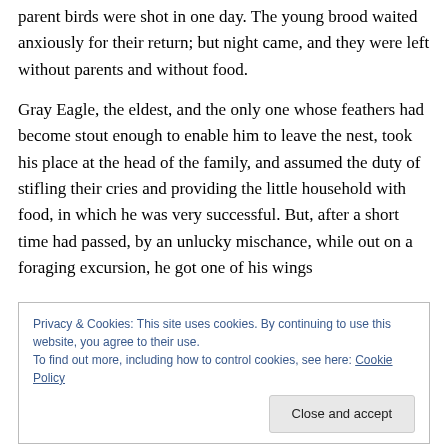parent birds were shot in one day. The young brood waited anxiously for their return; but night came, and they were left without parents and without food.
Gray Eagle, the eldest, and the only one whose feathers had become stout enough to enable him to leave the nest, took his place at the head of the family, and assumed the duty of stifling their cries and providing the little household with food, in which he was very successful. But, after a short time had passed, by an unlucky mischance, while out on a foraging excursion, he got one of his wings
Privacy & Cookies: This site uses cookies. By continuing to use this website, you agree to their use.
To find out more, including how to control cookies, see here: Cookie Policy